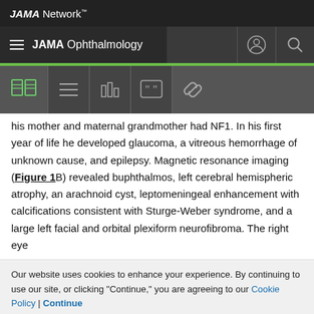JAMA Network
JAMA Ophthalmology
[Figure (screenshot): Navigation toolbar with icons: book, list, bar chart, quote, link]
his mother and maternal grandmother had NF1. In his first year of life he developed glaucoma, a vitreous hemorrhage of unknown cause, and epilepsy. Magnetic resonance imaging (Figure 1B) revealed buphthalmos, left cerebral hemispheric atrophy, an arachnoid cyst, leptomeningeal enhancement with calcifications consistent with Sturge-Weber syndrome, and a large left facial and orbital plexiform neurofibroma. The right eye
Our website uses cookies to enhance your experience. By continuing to use our site, or clicking "Continue," you are agreeing to our Cookie Policy | Continue